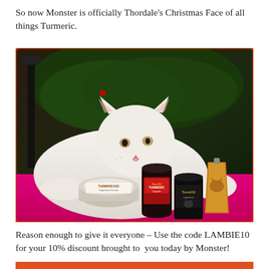So now Monster is officially Thordale's Christmas Face of all things Turmeric.
[Figure (photo): A white cat lying in front of a Christmas tree on a pink/red surface, looking at several turmeric supplement products: Turmerease container, Pure Oil Turmeric Capsules jar, TurmOil jar, and a golden liquid pouch.]
Reason enough to give it everyone – Use the code LAMBIE10 for your 10% discount brought to  you today by Monster!